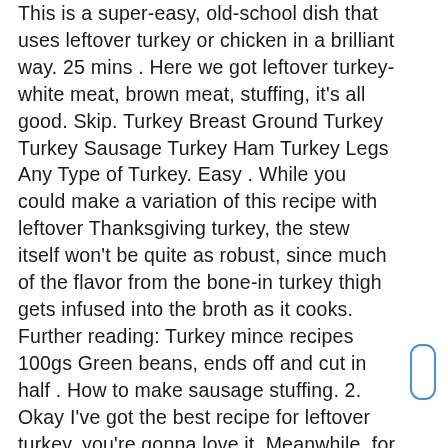This is a super-easy, old-school dish that uses leftover turkey or chicken in a brilliant way. 25 mins . Here we got leftover turkey- white meat, brown meat, stuffing, it's all good. Skip. Turkey Breast Ground Turkey Turkey Sausage Turkey Ham Turkey Legs Any Type of Turkey. Easy . While you could make a variation of this recipe with leftover Thanksgiving turkey, the stew itself won't be quite as robust, since much of the flavor from the bone-in turkey thigh gets infused into the broth as it cooks. Further reading: Turkey mince recipes 100gs Green beans, ends off and cut in half . How to make sausage stuffing. 2. Okay I've got the best recipe for leftover turkey, you're gonna love it. Meanwhile, for the stew, peel the onions, trim the celery, then roughly chop both and place in a large, wide casserole pan on a medium heat with 2 tablespoons of oil (or even better, use turkey dripping to intensify the flavours). Which kind of turkey would you like in the recipe? 5 ratings 3.4 out of 5 star rating. 1 garlic clove roughly chopped. Turkey burgers with beetroot relish.